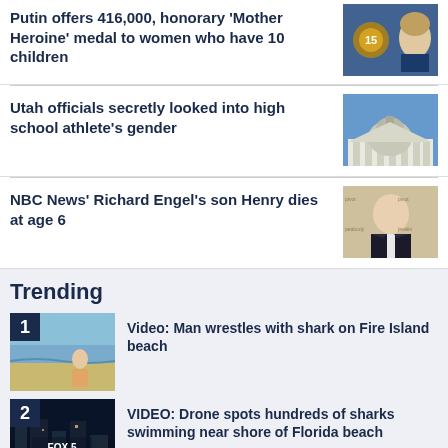Putin offers 416,000, honorary 'Mother Heroine' medal to women who have 10 children
[Figure (photo): Photo of Vladimir Putin]
Utah officials secretly looked into high school athlete's gender
[Figure (photo): Photo of a government building with columns]
NBC News' Richard Engel's son Henry dies at age 6
[Figure (photo): Photo of Richard Engel in a suit]
Trending
Video: Man wrestles with shark on Fire Island beach
[Figure (photo): Photo of person on beach near water]
VIDEO: Drone spots hundreds of sharks swimming near shore of Florida beach
[Figure (photo): Fox 5 New York news logo/graphic]